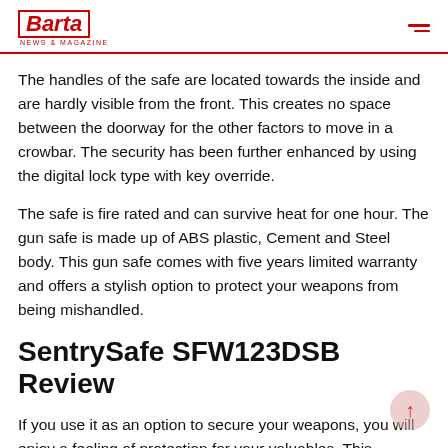Barta News & Magazine
The handles of the safe are located towards the inside and are hardly visible from the front. This creates no space between the doorway for the other factors to move in a crowbar. The security has been further enhanced by using the digital lock type with key override.
The safe is fire rated and can survive heat for one hour. The gun safe is made up of ABS plastic, Cement and Steel body. This gun safe comes with five years limited warranty and offers a stylish option to protect your weapons from being mishandled.
SentrySafe SFW123DSB Review
If you use it as an option to secure your weapons, you will enjoy a feeling of protection for your valuables. This